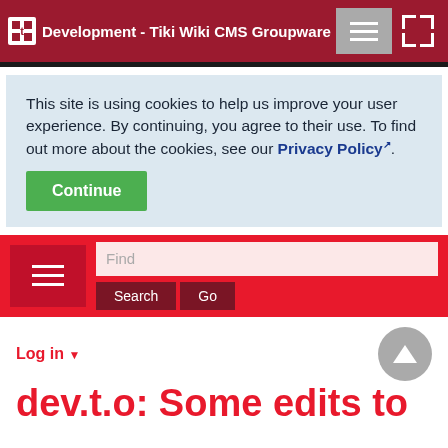Development - Tiki Wiki CMS Groupware
This site is using cookies to help us improve your user experience. By continuing, you agree to their use. To find out more about the cookies, see our Privacy Policy.
Continue
Find
Search  Go
Log in
dev.t.o: Some edits to